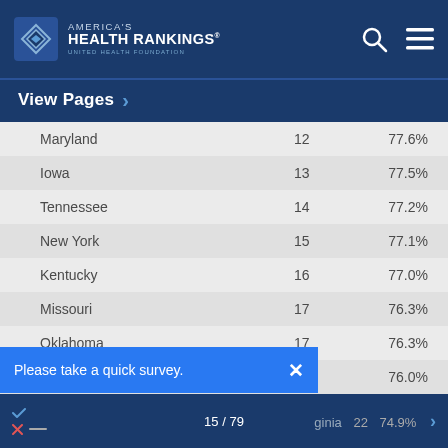America's Health Rankings - United Health Foundation
View Pages >
| State | Rank | Value |
| --- | --- | --- |
| Maryland | 12 | 77.6% |
| Iowa | 13 | 77.5% |
| Tennessee | 14 | 77.2% |
| New York | 15 | 77.1% |
| Kentucky | 16 | 77.0% |
| Missouri | 17 | 76.3% |
| Oklahoma | 17 | 76.3% |
| Oregon | 19 | 76.0% |
| [Delaware] | 21 | 75.1% |
| [Virginia] | 22 | 74.9% |
Please take a quick survey.
15 / 79